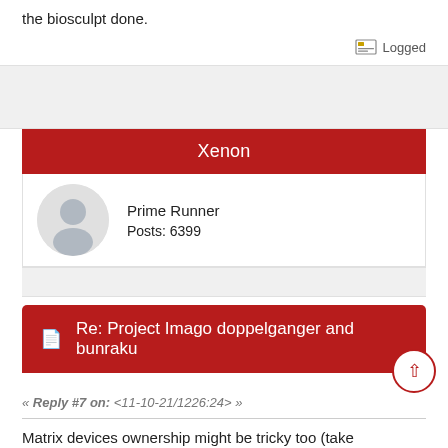the biosculpt done.
Logged
Xenon
Prime Runner
Posts: 6399
Re: Project Imago doppelganger and bunraku
« Reply #7 on: <11-10-21/1226:24> »
Matrix devices ownership might be tricky too (take